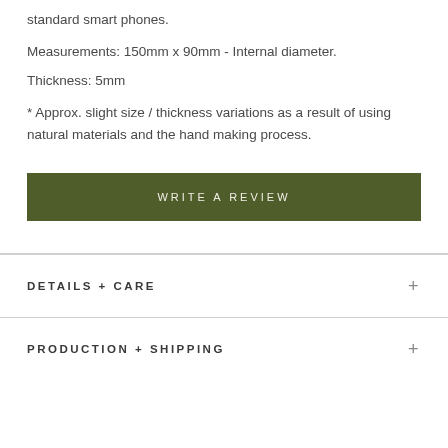standard smart phones.
Measurements: 150mm x 90mm - Internal diameter.
Thickness: 5mm
* Approx. slight size / thickness variations as a result of using natural materials and the hand making process.
WRITE A REVIEW
DETAILS + CARE
PRODUCTION + SHIPPING